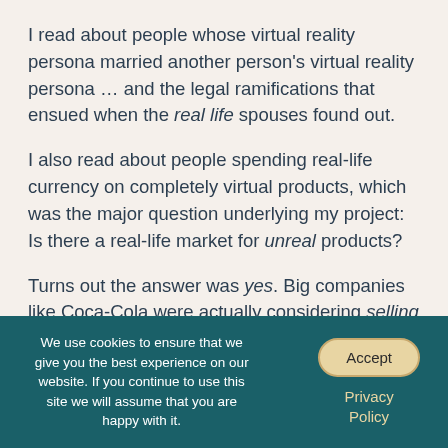I read about people whose virtual reality persona married another person's virtual reality persona … and the legal ramifications that ensued when the real life spouses found out.
I also read about people spending real-life currency on completely virtual products, which was the major question underlying my project: Is there a real-life market for unreal products?
Turns out the answer was yes. Big companies like Coca-Cola were actually considering selling products on Second Life because people would buy themselves (their virtual selves, that is) virtual Cokes!
We use cookies to ensure that we give you the best experience on our website. If you continue to use this site we will assume that you are happy with it. Accept Privacy Policy